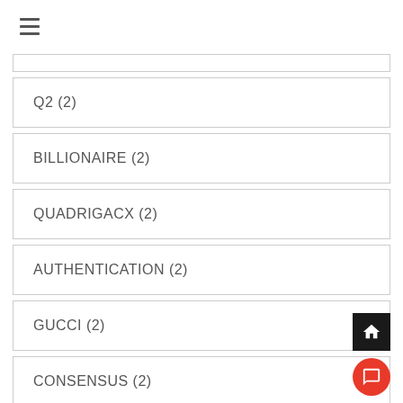Q2 (2)
BILLIONAIRE (2)
QUADRIGACX (2)
AUTHENTICATION (2)
GUCCI (2)
CONSENSUS (2)
BIPCOIN (2)